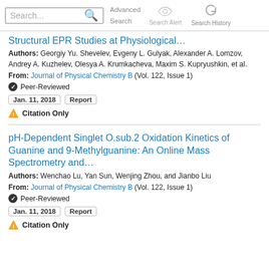Search... Advanced Search Search Alert Search History
Structural EPR Studies at Physiological…
Authors: Georgiy Yu. Shevelev, Evgeny L. Gulyak, Alexander A. Lomzov, Andrey A. Kuzhelev, Olesya A. Krumkacheva, Maxim S. Kupryushkin, et al.
From: Journal of Physical Chemistry B (Vol. 122, Issue 1)
✔ Peer-Reviewed
Jan. 11, 2018   Report
⚠ Citation Only
pH-Dependent Singlet O.sub.2 Oxidation Kinetics of Guanine and 9-Methylguanine: An Online Mass Spectrometry and…
Authors: Wenchao Lu, Yan Sun, Wenjing Zhou, and Jianbo Liu
From: Journal of Physical Chemistry B (Vol. 122, Issue 1)
✔ Peer-Reviewed
Jan. 11, 2018   Report
⚠ Citation Only